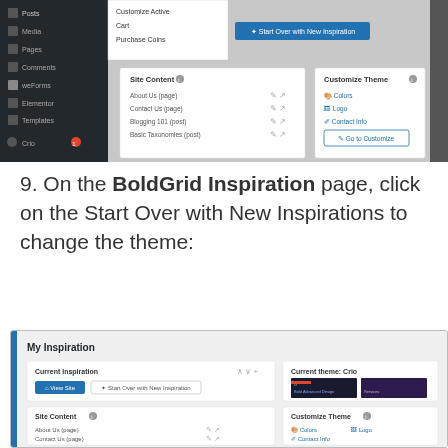[Figure (screenshot): WordPress admin dashboard screenshot showing sidebar navigation with Posts, Media, Pages, Comments, weForms, Elementor, Templates, Crio menu items, a dropdown menu with Customize Active, Cart, Purchase Coins options, a Start Over with New Inspiration button, Site Content panel with About Us, Contact Us, Blogging 101, Basic Taxonomies entries, and Customize Theme panel with Colors, Logo, Contact Info options and Go to Customize button]
9. On the BoldGrid Inspiration page, click on the Start Over with New Inspirations to change the theme:
[Figure (screenshot): BoldGrid My Inspiration page screenshot showing Current Inspiration panel with View Site and Start Over with New Inspiration buttons, Site Content panel listing About Us, Contact Us, Blogging 101, Basic Taxonomies, Tips For Better Writing, Home pages/posts with Add New Page and Add New Post links, Customize Theme panel with Colors, Logo, Contact Info and Go to Customizer button, and Current theme: Crio panel on the right with dark website preview thumbnails]